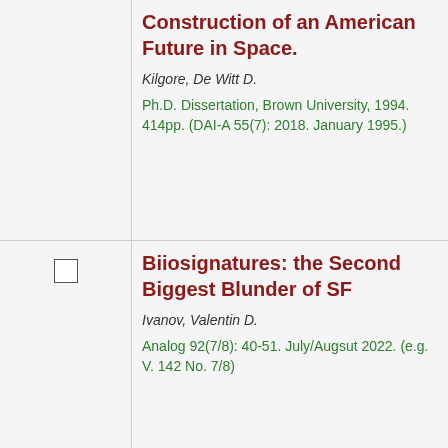Construction of an American Future in Space. — Kilgore, De Witt D. — Ph.D. Dissertation, Brown University, 1994. 414pp. (DAI-A 55(7): 2018. January 1995.)
Biiosignatures: the Second Biggest Blunder of SF — Ivanov, Valentin D. — Analog 92(7/8): 40-51. July/Augsut 2022. (e.g. V. 142 No. 7/8)
Blade Runner, de 2019